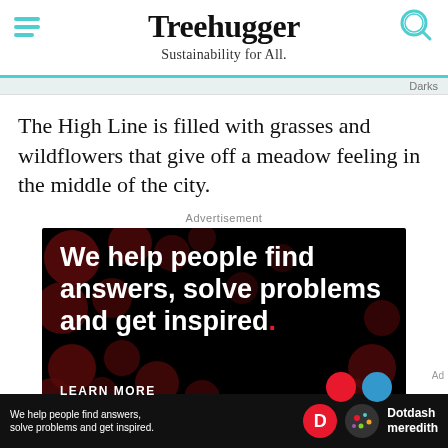Treehugger — Sustainability for All.
Darks
The High Line is filled with grasses and wildflowers that give off a meadow feeling in the middle of the city.
Advertisement
[Figure (other): Advertisement banner: black background with dark red bokeh dots, white bold text reading 'We help people find answers, solve problems and get inspired.' with a red period, and 'LEARN MORE' at the bottom left with red and blue circles.]
[Figure (other): Bottom sticky banner ad: black background with white text 'We help people find answers, solve problems and inspired.' alongside a red D circle logo and Dotdash Meredith colorful logo and name.]